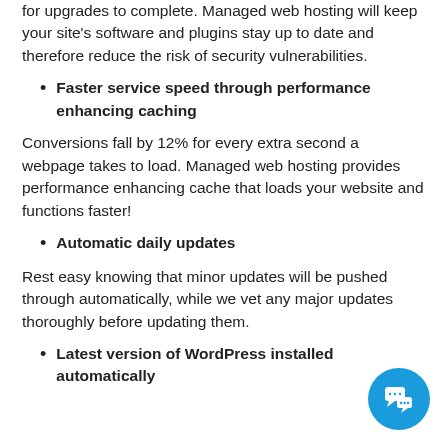for upgrades to complete. Managed web hosting will keep your site's software and plugins stay up to date and therefore reduce the risk of security vulnerabilities.
Faster service speed through performance enhancing caching
Conversions fall by 12% for every extra second a webpage takes to load. Managed web hosting provides performance enhancing cache that loads your website and functions faster!
Automatic daily updates
Rest easy knowing that minor updates will be pushed through automatically, while we vet any major updates thoroughly before updating them.
Latest version of WordPress installed automatically